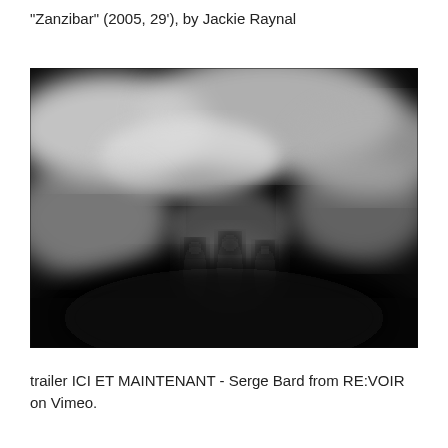"Zanzibar" (2005, 29'), by Jackie Raynal
[Figure (photo): Black and white blurry/abstract film still showing silhouetted figures against a hazy, blurred background with dramatic light and shadow contrasts.]
trailer ICI ET MAINTENANT - Serge Bard from RE:VOIR on Vimeo.